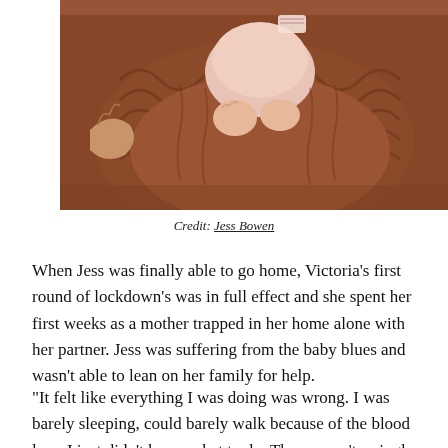[Figure (photo): Close-up photo of a baby wrapped in a brown/rust knitted blanket, wearing a light pink outfit, with small hands visible. A parent's hand is partially visible.]
Credit: Jess Bowen
When Jess was finally able to go home, Victoria's first round of lockdown's was in full effect and she spent her first weeks as a mother trapped in her home alone with her partner. Jess was suffering from the baby blues and wasn't able to lean on her family for help.
“It felt like everything I was doing was wrong. I was barely sleeping, could barely walk because of the blood loss. I just didn’t know what to do. There wasn’t a single day during